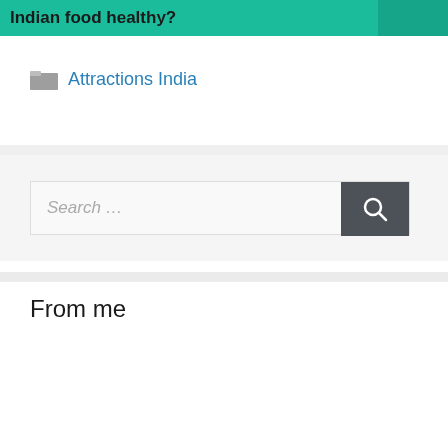Indian food healthy?
Attractions India
[Figure (other): Search box with placeholder text 'Search ...' and a dark search button with magnifying glass icon]
From me